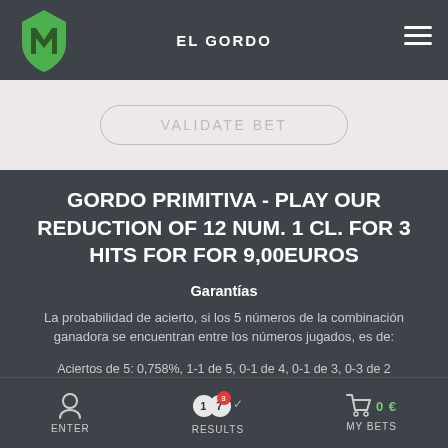EL GORDO
[Figure (logo): Green shield/M logo]
VALIDATE BET
GORDO PRIMITIVA - PLAY OUR REDUCTION OF 12 NUM. 1 CL. FOR 3 HITS FOR FOR 9,00EUROS
Garantías
La probabilidad de acierto, si los 5 números de la combinación ganadora se encuentran entre los números jugados, es de:
Aciertos de 5: 0,758%, 1-1 de 5, 0-1 de 4, 0-1 de 3, 0-3 de 2
Aciertos de 4: 24,747% 4 si 5  1-2 de 4, 0-3 de 3, 0-3 de 2
ENTER  RESULTS  MY BETS  0 €